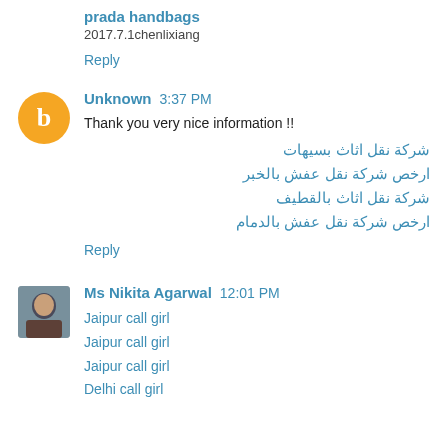prada handbags
2017.7.1chenlixiang
Reply
Unknown 3:37 PM
Thank you very nice information !!
شركة نقل اثاث بسيهات
ارخص شركة نقل عفش بالخبر
شركة نقل اثاث بالقطيف
ارخص شركة نقل عفش بالدمام
Reply
Ms Nikita Agarwal 12:01 PM
Jaipur call girl
Jaipur call girl
Jaipur call girl
Delhi call girl